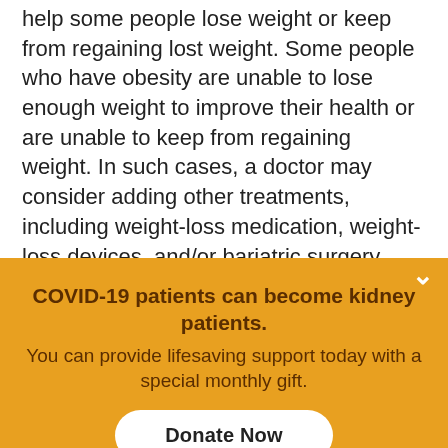help some people lose weight or keep from regaining lost weight. Some people who have obesity are unable to lose enough weight to improve their health or are unable to keep from regaining weight. In such cases, a doctor may consider adding other treatments, including weight-loss medication, weight-loss devices, and/or bariatric surgery.
Experts recommend losing 5% to 10% of your body weight within the first 6 months of treatment. If you weigh 200 pounds, this means losing as little as 10
[Figure (infographic): Orange banner advertisement with text: 'COVID-19 patients can become kidney patients. You can provide lifesaving support today with a special monthly gift.' and a white 'Donate Now' button. A white chevron/down-arrow appears in the top-right corner of the banner.]